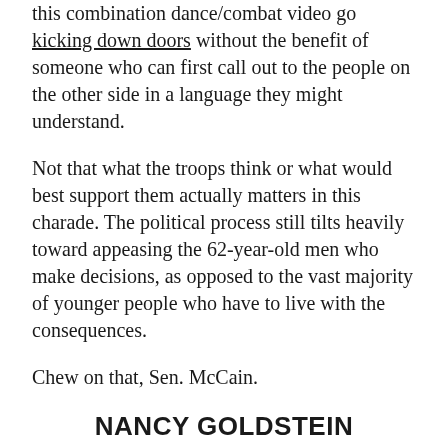this combination dance/combat video go kicking down doors without the benefit of someone who can first call out to the people on the other side in a language they might understand.
Not that what the troops think or what would best support them actually matters in this charade. The political process still tilts heavily toward appeasing the 62-year-old men who make decisions, as opposed to the vast majority of younger people who have to live with the consequences.
Chew on that, Sen. McCain.
NANCY GOLDSTEIN